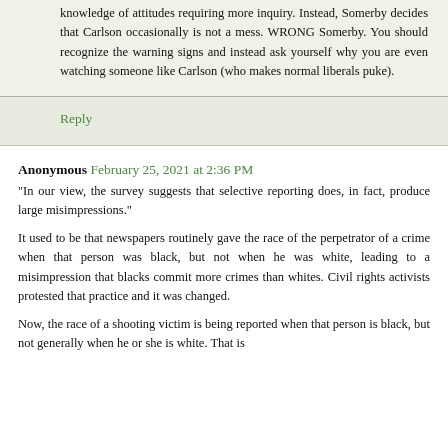knowledge of attitudes requiring more inquiry. Instead, Somerby decides that Carlson occasionally is not a mess. WRONG Somerby. You should recognize the warning signs and instead ask yourself why you are even watching someone like Carlson (who makes normal liberals puke).
Reply
Anonymous February 25, 2021 at 2:36 PM
"In our view, the survey suggests that selective reporting does, in fact, produce large misimpressions."
It used to be that newspapers routinely gave the race of the perpetrator of a crime when that person was black, but not when he was white, leading to a misimpression that blacks commit more crimes than whites. Civil rights activists protested that practice and it was changed.
Now, the race of a shooting victim is being reported when that person is black, but not generally when he or she is white. That is